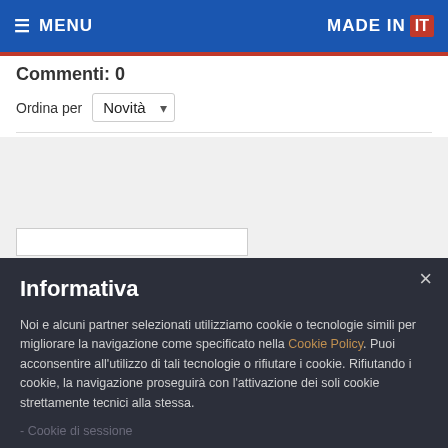MENU | MADE IN IT
Commenti: 0
Ordina per Novità
Informativa
Noi e alcuni partner selezionati utilizziamo cookie o tecnologie simili per migliorare la navigazione come specificato nella Cookie Policy. Puoi acconsentire all'utilizzo di tali tecnologie o rifiutare i cookie. Rifiutando i cookie, la navigazione proseguirà con l'attivazione dei soli cookie strettamente tecnici alla stessa.
- Cookie di sessione
- Cookie di Google Analytics
- Google Tag Manager
- Facebook Comments
- Cloudflare
ACCETTO